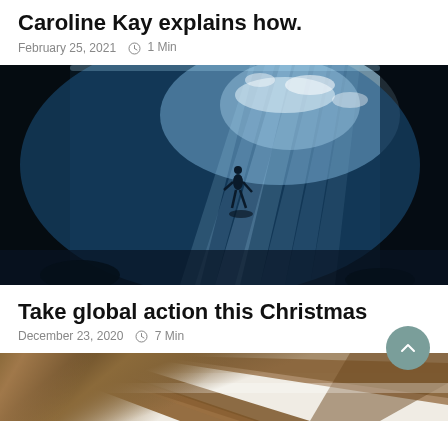Caroline Kay explains how.
February 25, 2021   1 Min
[Figure (photo): Underwater photo of a diver silhouette beneath a shaft of light filtering through blue water from above]
Take global action this Christmas
December 23, 2020   7 Min
[Figure (photo): Interior photo showing wooden ceiling beams against a white/cream ceiling]